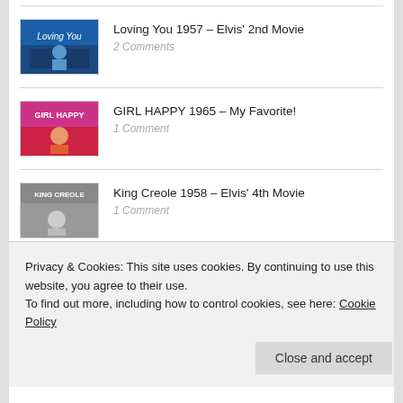Loving You 1957 – Elvis' 2nd Movie
2 Comments
GIRL HAPPY 1965 – My Favorite!
1 Comment
King Creole 1958 – Elvis' 4th Movie
1 Comment
Wild in the Country 1961 – Elvis' 7th Movie
Privacy & Cookies: This site uses cookies. By continuing to use this website, you agree to their use.
To find out more, including how to control cookies, see here: Cookie Policy
Close and accept